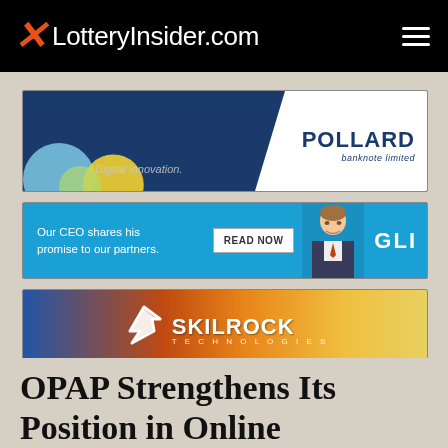LotteryInsider.com
[Figure (illustration): Pollard Banknote Limited advertisement banner. Dark blue background with colorful circles on left side and text 'Digital Innovation.' White diagonal panel on right displaying 'POLLARD banknote limited' logo.]
[Figure (illustration): GLI advertisement banner. Blue background with text 'Our CEO shares his promise to our partners.' and a 'READ NOW' button. Photo of a smiling man in suit on right side with 'GLI' logo.]
[Figure (illustration): Skilrock Technologies advertisement banner. Colorful gradient background from blue to gold with Skilrock Technologies logo and lightning bolt S symbol in center.]
OPAP Strengthens Its Position in Online